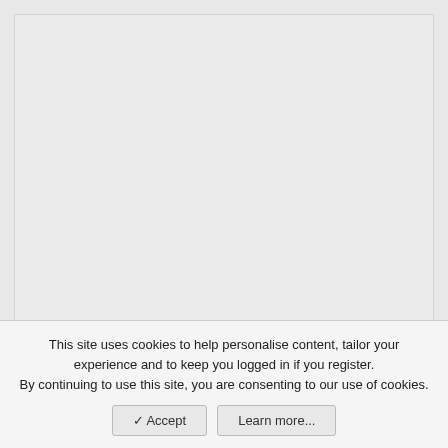[Figure (other): Large light grey placeholder content box]
[Figure (photo): Alexclass channel avatar — circular black icon with a figure (Martin Luther King Jr.) holding a microphone, red and white text overlay]
Alexclass
This site uses cookies to help personalise content, tailor your experience and to keep you logged in if you register.
By continuing to use this site, you are consenting to our use of cookies.
✓ Accept
Learn more...